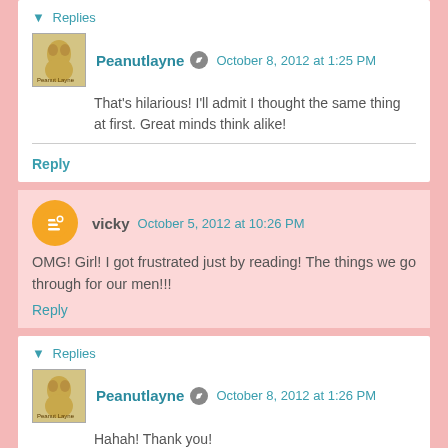▼ Replies
Peanutlayne  October 8, 2012 at 1:25 PM
That's hilarious! I'll admit I thought the same thing at first. Great minds think alike!
Reply
vicky  October 5, 2012 at 10:26 PM
OMG! Girl! I got frustrated just by reading! The things we go through for our men!!!
Reply
▼ Replies
Peanutlayne  October 8, 2012 at 1:26 PM
Hahah! Thank you!
Reply